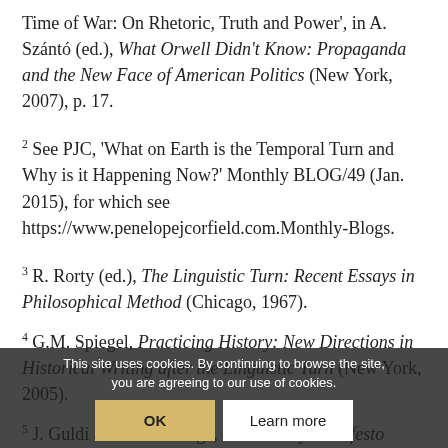Time of War: On Rhetoric, Truth and Power', in A. Szántó (ed.), What Orwell Didn't Know: Propaganda and the New Face of American Politics (New York, 2007), p. 17.
2 See PJC, 'What on Earth is the Temporal Turn and Why is it Happening Now?' Monthly BLOG/49 (Jan. 2015), for which see https://www.penelopejcorfield.com.Monthly-Blogs.
3 R. Rorty (ed.), The Linguistic Turn: Recent Essays in Philosophical Method (Chicago, 1967).
4 G.M. Spiegel, Practicing History: New Directions in Historical Writing after the Linguistic Turn (New York, 2005).
5 J. Guldi and D. Armitage, The History Manifesto (Cambridge, 2014), pp. 1–2.